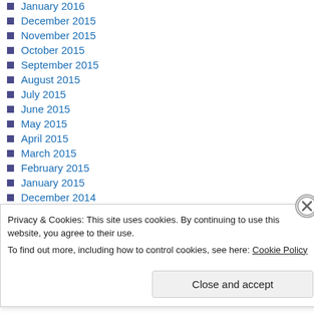January 2016
December 2015
November 2015
October 2015
September 2015
August 2015
July 2015
June 2015
May 2015
April 2015
March 2015
February 2015
January 2015
December 2014
November 2014
October 2014
September 2014
August 2014
Privacy & Cookies: This site uses cookies. By continuing to use this website, you agree to their use.
To find out more, including how to control cookies, see here: Cookie Policy
Close and accept